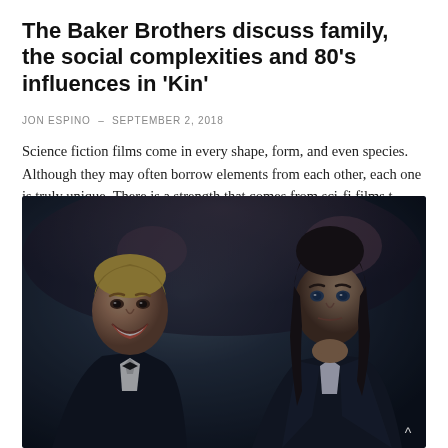The Baker Brothers discuss family, the social complexities and 80’s influences in ‘Kin’
JON ESPINO – SEPTEMBER 2, 2018
Science fiction films come in every shape, form, and even species. Although they may often borrow elements from each other, each one is truly unique. There is a strength that comes from sci-fi films t…
[Figure (photo): Two men in formal attire (tuxedos/suits) seated together. The man on the left has short blond hair and is smiling broadly. The man on the right has long dark wavy hair and is holding his hand to his chin in a thoughtful pose. Background shows a blurred audience setting. Image is dark/moody in tone.]